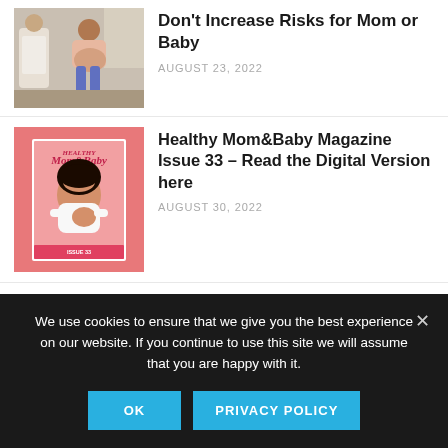[Figure (photo): A pregnant woman sitting while being examined by a medical professional]
Don't Increase Risks for Mom or Baby
AUGUST 23, 2022
[Figure (photo): Cover of Healthy Mom&Baby Magazine Issue 33 showing a woman holding a baby on a pink background]
Healthy Mom&Baby Magazine Issue 33 – Read the Digital Version here
AUGUST 30, 2022
[Figure (photo): Hands with painted nails holding items on a table, partial view]
We use cookies to ensure that we give you the best experience on our website. If you continue to use this site we will assume that you are happy with it.